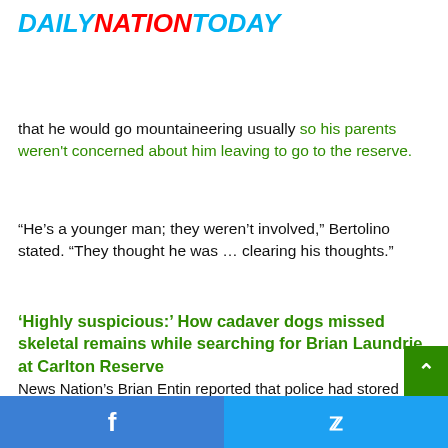DAILYNATIONTODAY
that he would go mountaineering usually so his parents weren't concerned about him leaving to go to the reserve.
“He’s a younger man; they weren’t involved,” Bertolino stated. “They thought he was … clearing his thoughts.”
‘Highly suspicious:’ How cadaver dogs missed skeletal remains while searching for Brian Laundrie at Carlton Reserve
News Nation’s Brian Entin reported that police had stored tabs on Laundrie earlier than he disappeared by inserting surveillance cameras round his household’s dwelling, however they missed him leaving to go to the reserve. Authorities
Facebook Twitter